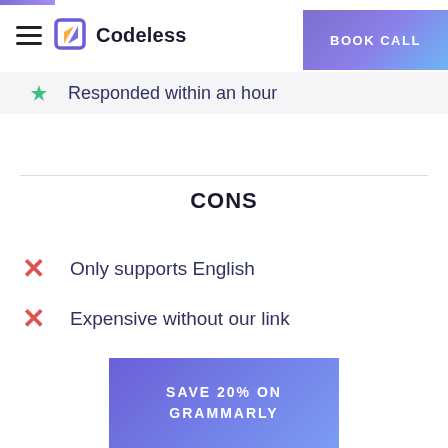Codeless | BOOK CALL
Responded within an hour
CONS
Only supports English
Expensive without our link
[Figure (other): Save 20% on Grammarly promotional banner with purple-to-blue gradient]